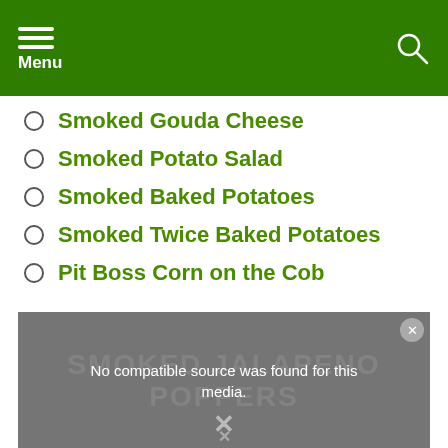Menu
Smoked Gouda Cheese
Smoked Potato Salad
Smoked Baked Potatoes
Smoked Twice Baked Potatoes
Pit Boss Corn on the Cob
[Figure (screenshot): Video player showing 'No compatible source was found for this media.' with background text 'SMOKED JALAPENO POPPERS' and an X close button]